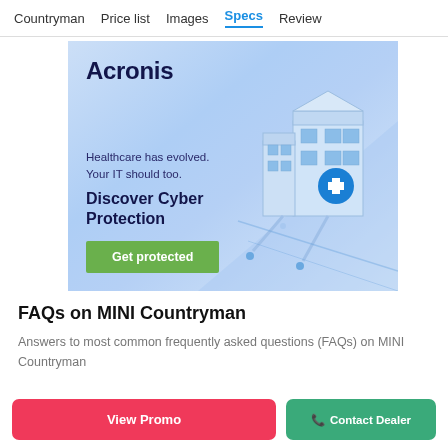Countryman  Price list  Images  Specs  Review
[Figure (illustration): Acronis advertisement banner. Light blue background with isometric hospital building illustration on the right. Text reads: 'Acronis', 'Healthcare has evolved. Your IT should too.', 'Discover Cyber Protection', green button 'Get protected'.]
FAQs on MINI Countryman
Answers to most common frequently asked questions (FAQs) on MINI Countryman
View Promo    Contact Dealer